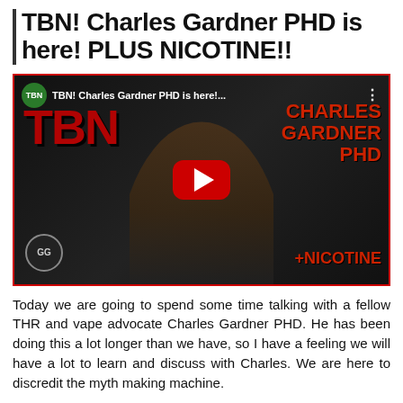TBN! Charles Gardner PHD is here! PLUS NICOTINE!!
[Figure (screenshot): YouTube video thumbnail showing TBN! Charles Gardner PHD is here! episode with a man in a brown jacket, TBN logo, and +NICOTINE text, with red YouTube play button overlay]
Today we are going to spend some time talking with a fellow THR and vape advocate Charles Gardner PHD. He has been doing this a lot longer than we have, so I have a feeling we will have a lot to learn and discuss with Charles. We are here to discredit the myth making machine.